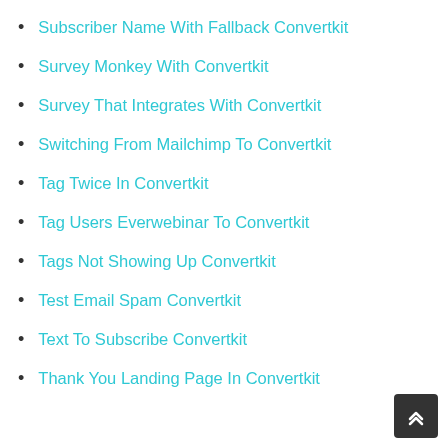Subscriber Name With Fallback Convertkit
Survey Monkey With Convertkit
Survey That Integrates With Convertkit
Switching From Mailchimp To Convertkit
Tag Twice In Convertkit
Tag Users Everwebinar To Convertkit
Tags Not Showing Up Convertkit
Test Email Spam Convertkit
Text To Subscribe Convertkit
Thank You Landing Page In Convertkit